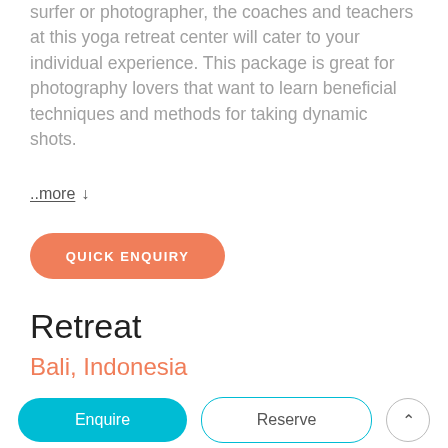surfer or photographer, the coaches and teachers at this yoga retreat center will cater to your individual experience. This package is great for photography lovers that want to learn beneficial techniques and methods for taking dynamic shots.
..more ↓
QUICK ENQUIRY
Retreat
Bali, Indonesia
From 617 USD
Enquire
Reserve